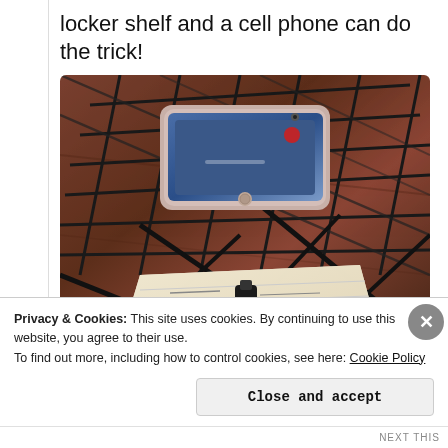locker shelf and a cell phone can do the trick!
[Figure (photo): A wire locker shelf used as a makeshift camera stand, with a cell phone placed on top recording, and an open notebook with a red pen placed underneath on a wooden table.]
Privacy & Cookies: This site uses cookies. By continuing to use this website, you agree to their use.
To find out more, including how to control cookies, see here: Cookie Policy
Close and accept